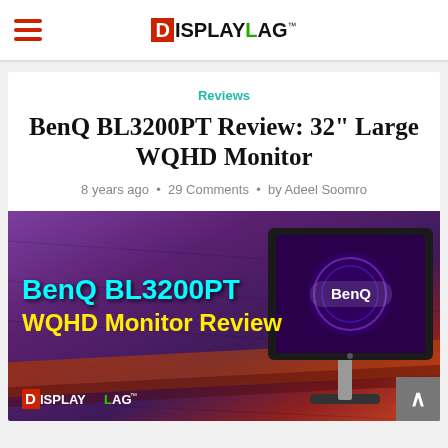DisplayLag
Reviews
BenQ BL3200PT Review: 32" Large WQHD Monitor
8 years ago • 29 Comments • by Adeel Soomro
[Figure (photo): Hero image for BenQ BL3200PT review showing the monitor on a colorful purple and red textured background. Text overlay reads 'BenQ BL3200PT WQHD Monitor Review' with the DisplayLag logo in the bottom left corner.]